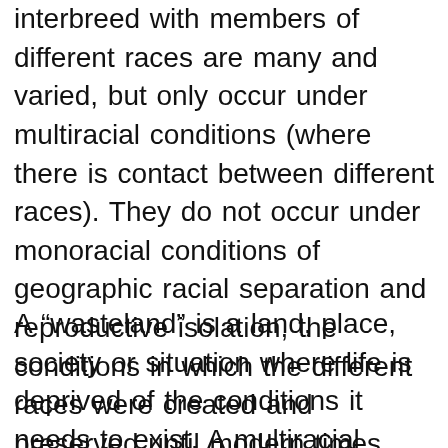interbreed with members of different races are many and varied, but only occur under multiracial conditions (where there is contact between different races). They do not occur under monoracial conditions of geographic racial separation and reproductive isolation, the conditions in which the different races were created and preserved until modern times.
A “wasteland” is a land, place, society or situation where life is deprived of the conditions it needs to exist. A multiracial society is a racial wasteland, where racial life cannot be continued, where the forces